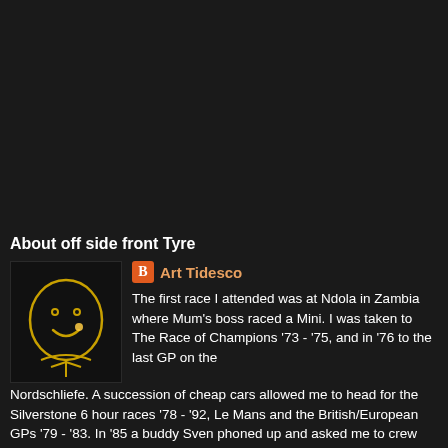[Figure (illustration): Dark/black background taking up the top portion of the page]
About off side front Tyre
[Figure (illustration): Small avatar image showing a simple line drawing of a smiling face on dark background]
Art Tidesco
The first race I attended was at Ndola in Zambia where Mum's boss raced a Mini. I was taken to The Race of Champions '73 - '75, and in '76 to the last GP on the Nordschliefe. A succession of cheap cars allowed me to head for the Silverstone 6 hour races '78 - '92, Le Mans and the British/European GPs '79 - '83. In '85 a buddy Sven phoned up and asked me to crew